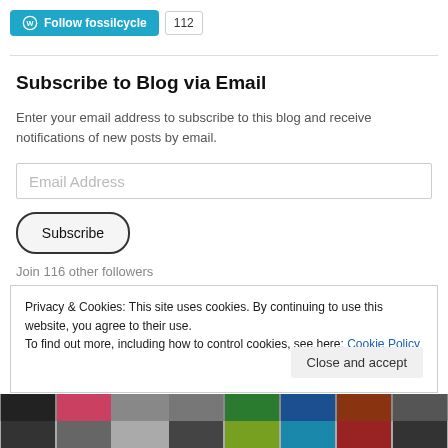[Figure (screenshot): WordPress Follow button with blue background showing 'Follow fossilcycle' and follower count badge '112']
Subscribe to Blog via Email
Enter your email address to subscribe to this blog and receive notifications of new posts by email.
Email Address (input field placeholder)
Subscribe (button)
Join 116 other followers
Privacy & Cookies: This site uses cookies. By continuing to use this website, you agree to their use. To find out more, including how to control cookies, see here: Cookie Policy
Close and accept